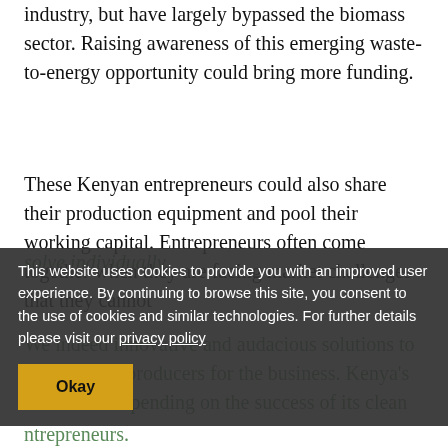industry, but have largely bypassed the biomass sector. Raising awareness of this emerging waste-to-energy opportunity could bring more funding.
These Kenyan entrepreneurs could also share their production equipment and pool their working capital. Entrepreneurs often come together when they are facing market challenges that they cannot solve individually.
We indeed innovative and audacious solutions to our biomass producers for the business. Kenya's forests are depending on the success of its clean entrepreneurs.
This website uses cookies to provide you with an improved user experience. By continuing to browse this site, you consent to the use of cookies and similar technologies. For further details please visit our privacy policy